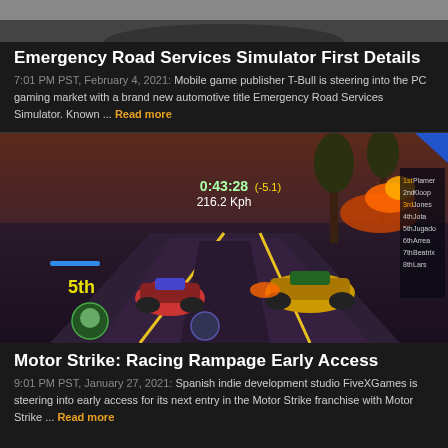[Figure (screenshot): Top portion of a cropped vehicle/driving game screenshot showing a road scene]
Emergency Road Services Simulator First Details
7:01 PM PST, February 4, 2021: Mobile game publisher T-Bull is steering into the PC gaming market with a brand new automotive title Emergency Road Services Simulator. Known ... Read more
[Figure (screenshot): Screenshot from Motor Strike: Racing Rampage showing kart racing game with HUD elements including timer 0:43:28 (-5.1), speed 216.2 Kph, position 5th, and leaderboard on right]
Motor Strike: Racing Rampage Early Access
9:01 PM PST, January 27, 2021: Spanish indie development studio FiveXGames is steering into early access for its next entry in the Motor Strike franchise with Motor Strike ... Read more